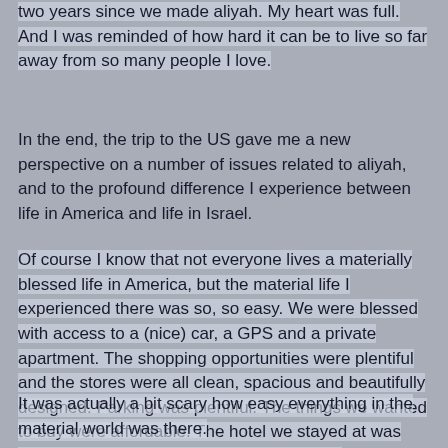two years since we made aliyah. My heart was full. And I was reminded of how hard it can be to live so far away from so many people I love.
In the end, the trip to the US gave me a new perspective on a number of issues related to aliyah, and to the profound difference I experience between life in America and life in Israel.
Of course I know that not everyone lives a materially blessed life in America, but the material life I experienced there was so, so easy. We were blessed with access to a (nice) car, a GPS and a private apartment. The shopping opportunities were plentiful and the stores were all clean, spacious and beautifully designed. Parking was plentiful. The things we wanted to buy were affordable. The hotel we stayed at was luxurious. And the customer service, nearly everywhere, was outstanding (and in English!)
It was actually a bit scary how easy everything in the material world was there.